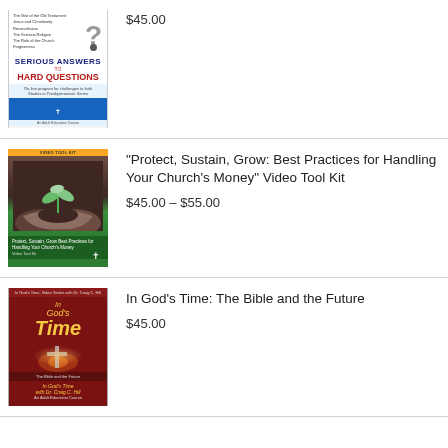[Figure (illustration): Book cover: Serious Answers to Hard Questions]
$45.00
[Figure (photo): Book/DVD cover: Protect, Sustain, Grow: Best Practices for Handling Your Church's Money Video Tool Kit - shows hands holding a seedling]
"Protect, Sustain, Grow: Best Practices for Handling Your Church’s Money" Video Tool Kit
$45.00 – $55.00
[Figure (illustration): Book cover: In God's Time: The Bible and the Future with Dr. Craig C. Hill]
In God’s Time: The Bible and the Future
$45.00